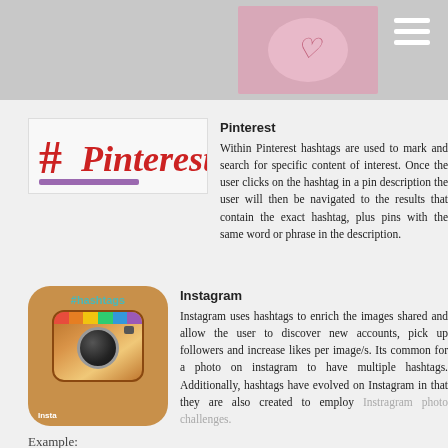[Figure (screenshot): Top gray navigation bar with a pink/floral image thumbnail and hamburger menu icon]
[Figure (illustration): Pinterest hashtag logo image showing '#Pinterest' in red script font on white background]
Pinterest
Within Pinterest hashtags are used to mark and search for specific content of interest. Once the user clicks on the hashtag in a pin description the user will then be navigated to the results that contain the exact hashtag, plus pins with the same word or phrase in the description.
[Figure (illustration): Instagram app icon with camera graphic and '#hashtags' text above it]
Instagram
Instagram uses hashtags to enrich the images shared and allow the user to discover new accounts, pick up followers and increase likes per image/s. Its common for a photo on instagram to have multiple hashtags. Additionally, hashtags have evolved on Instagram in that they are also created to employ Instragram photo challenges.
Example: